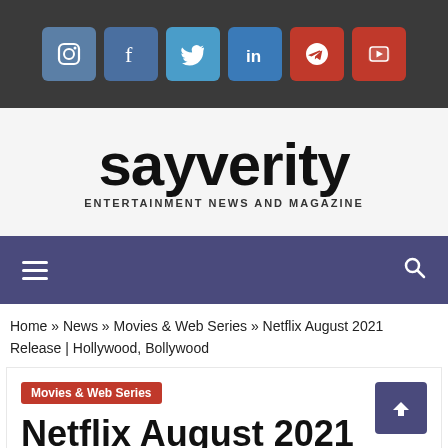[Figure (other): Social media icons bar with Instagram, Facebook, Twitter, LinkedIn, Telegram, and YouTube icons on dark background]
sayverity
ENTERTAINMENT NEWS AND MAGAZINE
Navigation bar with hamburger menu and search icon
Home » News » Movies & Web Series » Netflix August 2021 Release | Hollywood, Bollywood
Movies & Web Series
Netflix August 2021 Release | Hollywood,